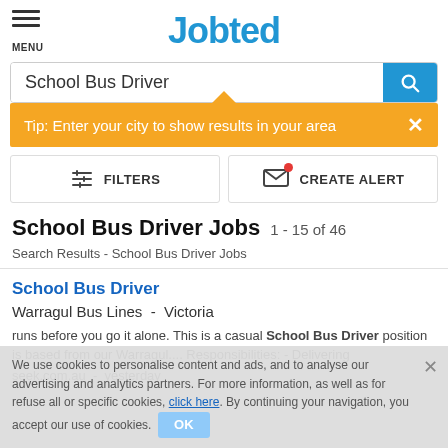Jobted
School Bus Driver
Tip: Enter your city to show results in your area
FILTERS
CREATE ALERT
School Bus Driver Jobs 1 - 15 of 46
Search Results - School Bus Driver Jobs
School Bus Driver
Warragul Bus Lines  -  Victoria
runs before you go it alone. This is a casual School Bus Driver position is based from our Warragul.... Responsibilities: - Delivering
seek.com.au  -  yesterday
We use cookies to personalise content and ads, and to analyse our advertising and analytics partners. For more information, as well as for refuse all or specific cookies, click here. By continuing your navigation, you accept our use of cookies.